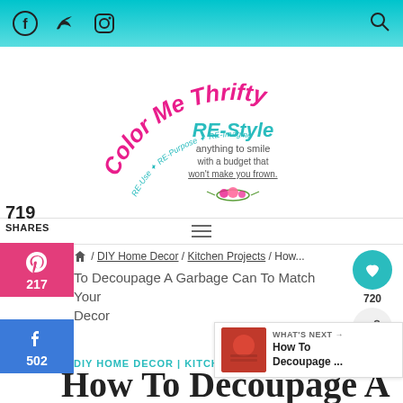Social media icons: Facebook, Twitter, Instagram, Search
[Figure (logo): Color Me Thrifty logo with tagline: RE-Style anything to smile with a budget that won't make you frown. RE-Use, RE-Purpose, RE-Imagine.]
719 SHARES
217 (Pinterest)
502 (Facebook)
/ DIY Home Decor / Kitchen Projects / How To Decoupage A Garbage Can To Match Your Decor
WHAT'S NEXT → How To Decoupage ...
DIY HOME DECOR | KITCHEN PROJECTS
How To Decoupage A